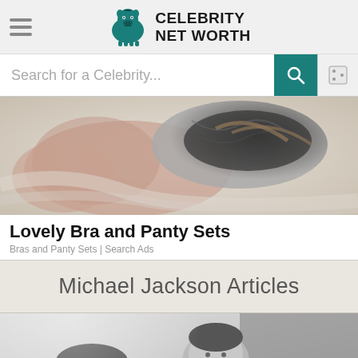Celebrity Net Worth
[Figure (screenshot): Search bar with 'Search for a Celebrity...' placeholder, teal search button, and dice button]
[Figure (photo): Advertisement photo showing bra and panty lingerie set on a white background]
Lovely Bra and Panty Sets
Bras and Panty Sets | Search Ads
Michael Jackson Articles
[Figure (photo): Black and white photo showing children, partially cropped at bottom of page]